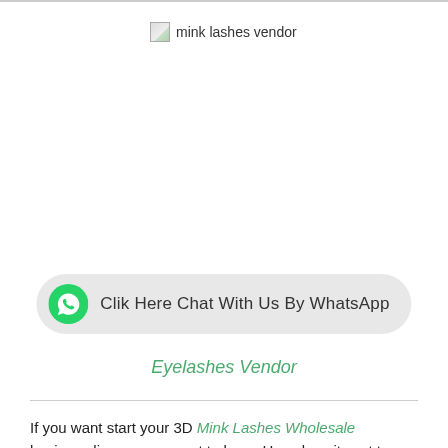[Figure (other): Broken image placeholder with alt text 'mink lashes vendor']
[Figure (other): WhatsApp chat button with green WhatsApp phone icon and text 'Clik Here Chat With Us By WhatsApp' on a light grey pill-shaped background]
Eyelashes Vendor
If you want start your 3D Mink Lashes Wholesale business line, or you want to know How does it cost to start a lash company, and